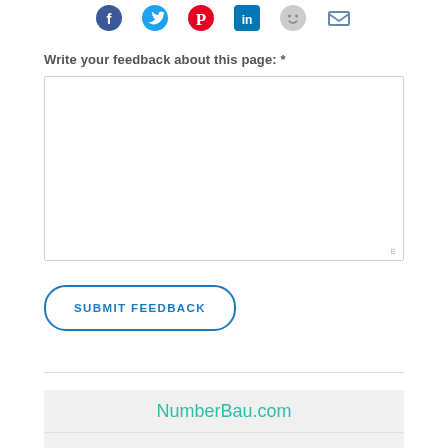[Figure (other): Row of social media sharing icons: Facebook (blue f), Twitter (blue bird), Pinterest (red P), LinkedIn (blue in), a smiley face icon (grey), and an email envelope icon (grey/blue)]
Write your feedback about this page: *
[Figure (other): Empty textarea input box for feedback with resize handle in bottom-right corner]
[Figure (other): SUBMIT FEEDBACK button with rounded pill border in blue]
NumberBau.com